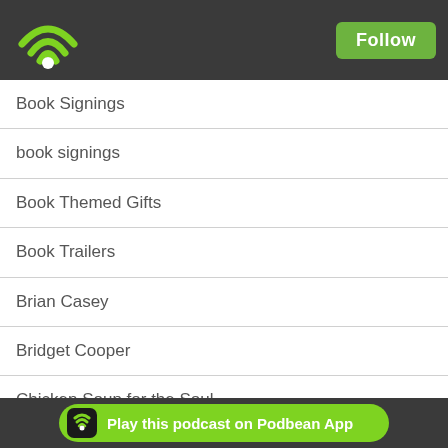[Figure (logo): Podbean app logo - green wifi/podcast signal icon on dark header bar]
Follow
Book Signings
book signings
Book Themed Gifts
Book Trailers
Brian Casey
Bridget Cooper
Chicken Soup for the Soul
Chicken Soup for the Woman's Soul
City of Girls
Climax
copywriters
Cover Art
cover artis…
Play this podcast on Podbean App